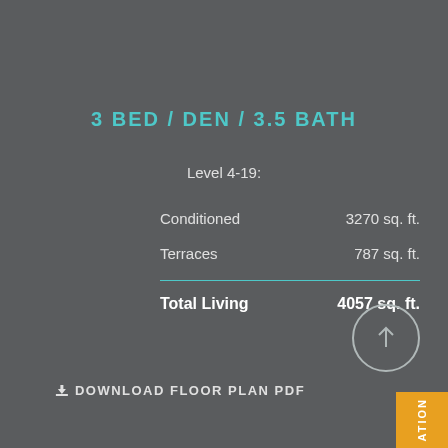3 BED / DEN / 3.5 BATH
Level 4-19:
Conditioned    3270 sq. ft.
Terraces    787 sq. ft.
Total Living  4057 sq. ft.
↓ DOWNLOAD FLOOR PLAN PDF
ATION